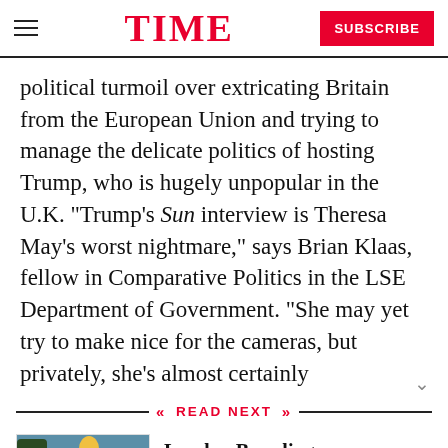TIME | SUBSCRIBE
political turmoil over extricating Britain from the European Union and trying to manage the delicate politics of hosting Trump, who is hugely unpopular in the U.K. “Trump’s Sun interview is Theresa May’s worst nightmare,” says Brian Klaas, fellow in Comparative Politics in the LSE Department of Government. “She may yet try to make nice for the cameras, but privately, she’s almost certainly
READ NEXT
[Figure (photo): Crowd scene photo showing large group of people outdoors, likely a protest, with a yellow object visible above the crowd]
London Brawling